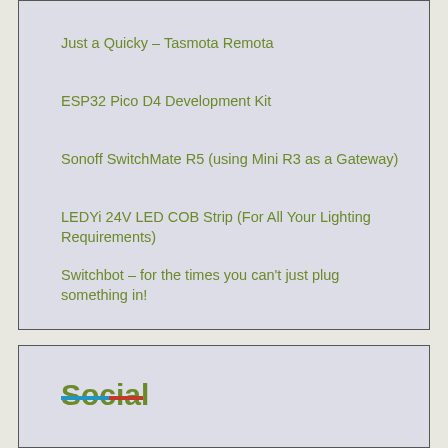Just a Quicky – Tasmota Remota
ESP32 Pico D4 Development Kit
Sonoff SwitchMate R5 (using Mini R3 as a Gateway)
LEDYi 24V LED COB Strip (For All Your Lighting Requirements)
Switchbot – for the times you can't just plug something in!
Social